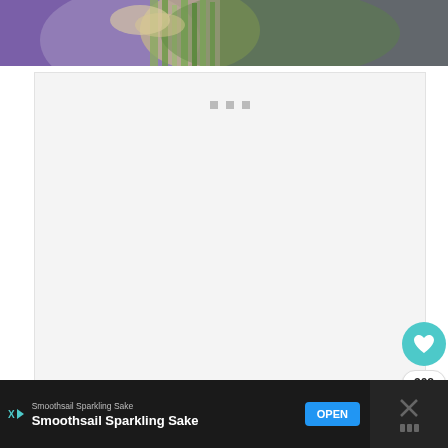[Figure (photo): Top portion of a food/recipe photo showing colorful vegetables including purple onion, green leeks or scallions, and yellow-beige ingredients against a purple and green background]
[Figure (screenshot): White/light grey content area with three grey square dots (loading indicator) visible near top center, with social interaction buttons on right: teal heart/like button, '308' count badge, and share button]
308
[Figure (infographic): WHAT'S NEXT card showing a thumbnail of yellow/gold ingredient and text 'Sautéed Yellow Squash']
WHAT'S NEXT → Sautéed Yellow Squash
[Figure (screenshot): Advertisement bar at bottom: dark background with 'Smoothsail Sparkling Sake' small text and large bold text, blue OPEN button, X dismiss button on right side]